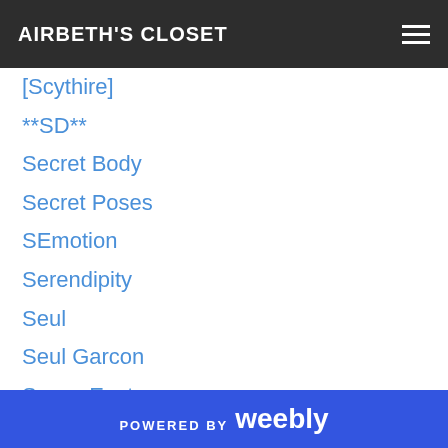AIRBETH'S CLOSET
[Scythire]
**SD**
Secret Body
Secret Poses
SEmotion
Serendipity
Seul
Seul Garcon
Sevyn East
[Sexy Princess]
*{ S.G }*
Shanghai
Sheba
Shey
SHEY Bien
POWERED BY weebly